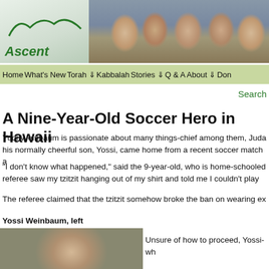[Figure (photo): Ascent organization header banner with logo on the left showing mountain/hill silhouette curves in green and the italic bold text 'Ascent', and a group photo collage of young people on the right]
Home  What's New  Torah ⇓  Kabbalah  Stories ⇓  Q & A  About ⇓  Don
Search
A Nine-Year-Old Soccer Hero in Hawaii
Yudi Weinbaum is passionate about many things-chief among them, Juda his normally cheerful son, Yossi, came home from a recent soccer match a
"I don't know what happened," said the 9-year-old, who is home-schooled referee saw my tzitzit hanging out of my shirt and told me I couldn't play
The referee claimed that the tzitzit somehow broke the ban on wearing ex
Yossi Weinbaum, left
[Figure (photo): Photo of Yossi Weinbaum on the left side]
Unsure of how to proceed, Yossi-wh